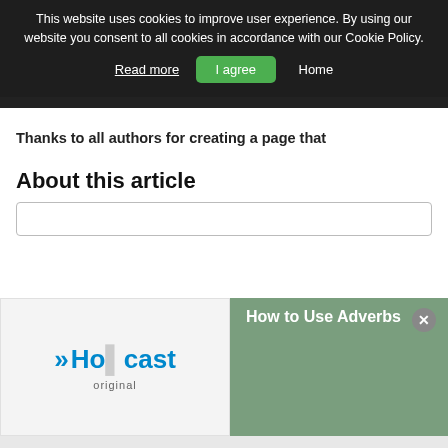[Figure (screenshot): Cookie consent banner overlay on dark website header background, with 'Read more' link and 'I agree' green button, and 'Home' navigation link visible]
This website uses cookies to improve user experience. By using our website you consent to all cookies in accordance with our Cookie Policy.
Read more   I agree   Home
Thanks to all authors for creating a page that
About this article
[Figure (logo): Howcast logo with double arrow icon, text 'Howcast' in blue and 'original' below]
How to Use Adverbs